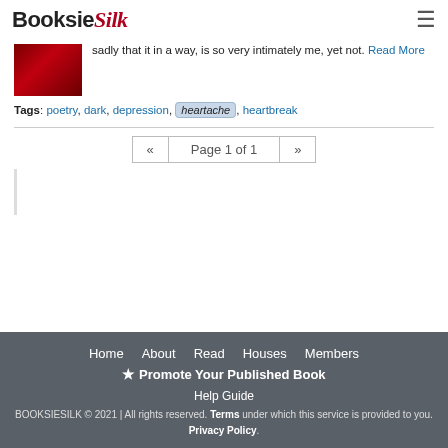BooksicSilk
sadly that it in a way, is so very intimately me, yet not. Read More
Tags: poetry, dark, depression, heartache, heartbreak
« Page 1 of 1 »
Home  About  Read  Houses  Members  Help Guide  ★ Promote Your Published Book  BOOKSIESILK © 2021 | All rights reserved. Terms under which this service is provided to you. Privacy Policy.